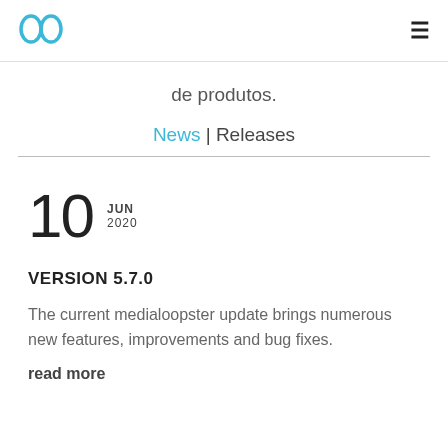medialoopster logo | hamburger menu
de produtos.
News | Releases
10 JUN 2020
VERSION 5.7.0
The current medialoopster update brings numerous new features, improvements and bug fixes.
read more